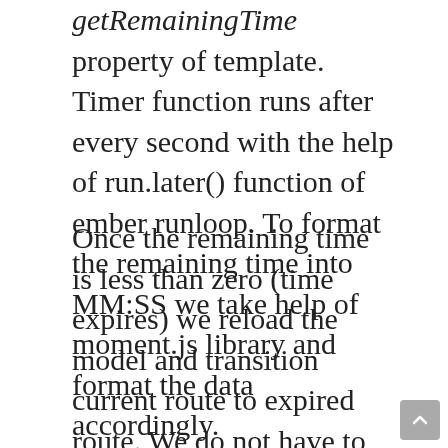getRemainingTime property of template. Timer function runs after every second with the help of run.later() function of ember runloop. To format the remaining time into MM:SS we take help of moment.js library and format the data accordingly.
Once the remaining time is less than zero (time expires) we reload the model and transition current route to expired route. We do not have to set order status as expired inside the FE. Server sets the order as expired after the predefined time. So we just reload the model from the server and we get the updated status of the order.